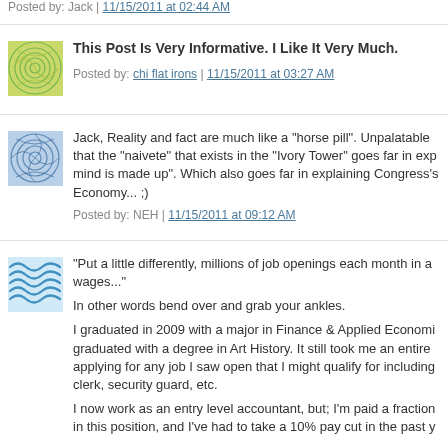Posted by: Jack | 11/15/2011 at 02:44 AM
[Figure (illustration): Green circular pattern avatar]
This Post Is Very Informative. I Like It Very Much.
Posted by: chi flat irons | 11/15/2011 at 03:27 AM
[Figure (illustration): Blue circular pattern avatar]
Jack, Reality and fact are much like a "horse pill". Unpalatable that the "naivete" that exists in the "Ivory Tower" goes far in exp mind is made up". Which also goes far in explaining Congress's Economy... ;)
Posted by: NEH | 11/15/2011 at 09:12 AM
[Figure (illustration): Blue waves avatar]
"Put a little differently, millions of job openings each month in a wages..."
In other words bend over and grab your ankles.
I graduated in 2009 with a major in Finance & Applied Economi graduated with a degree in Art History. It still took me an entire applying for any job I saw open that I might qualify for including clerk, security guard, etc.
I now work as an entry level accountant, but; I'm paid a fraction in this position, and I've had to take a 10% pay cut in the past y